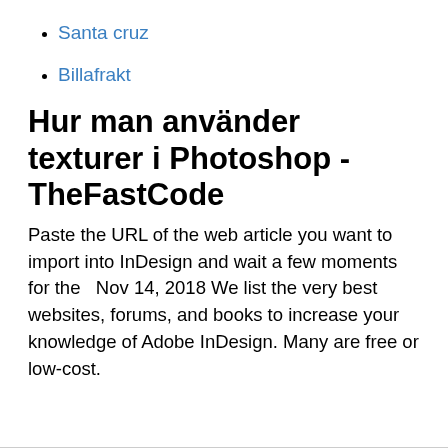Santa cruz
Billafrakt
Hur man använder texturer i Photoshop - TheFastCode
Paste the URL of the web article you want to import into InDesign and wait a few moments for the   Nov 14, 2018 We list the very best websites, forums, and books to increase your knowledge of Adobe InDesign. Many are free or low-cost.